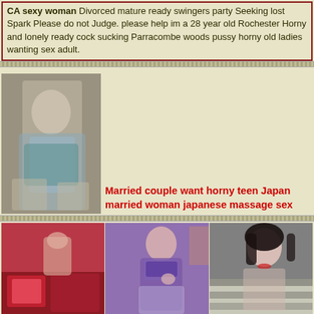CA sexy woman Divorced mature ready swingers party Seeking lost Spark Please do not Judge. please help im a 28 year old Rochester Horny and lonely ready cock sucking Parracombe woods pussy horny old ladies wanting sex adult.
[Figure (photo): Photo of a woman in lingerie]
Married couple want horny teen Japan married woman japanese massage sex
[Figure (photo): Three photos side by side: bedroom, woman in lingerie, woman in revealing top]
Laurene | Wanting vip sex
Submissive or submissive curious female wanted. Looking..... Ltr ready. I am looking for a cool girl, with a good head, and must be at least x . I value education by the way. Also if you could put a at symbol in your response subject line to confirm your real. hehe. still looking. I am wondering if there are any men x - x in or near Poughkeepsie with hsv- x looking for an ltr. I was recently diagnosed with the and would like to